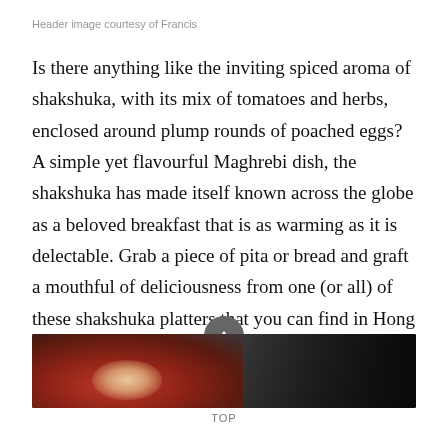Header image courtesy of Francis
Is there anything like the inviting spiced aroma of shakshuka, with its mix of tomatoes and herbs, enclosed around plump rounds of poached eggs? A simple yet flavourful Maghrebi dish, the shakshuka has made itself known across the globe as a beloved breakfast that is as warming as it is delectable. Grab a piece of pita or bread and graft a mouthful of deliciousness from one (or all) of these shakshuka platters that you can find in Hong Kong.
[Figure (photo): Photo of shakshuka food dish, dark background, showing warm orange-red tones of the dish with egg visible]
TOP